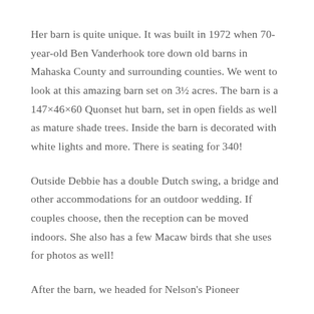Her barn is quite unique. It was built in 1972 when 70-year-old Ben Vanderhook tore down old barns in Mahaska County and surrounding counties. We went to look at this amazing barn set on 3½ acres. The barn is a 147×46×60 Quonset hut barn, set in open fields as well as mature shade trees. Inside the barn is decorated with white lights and more. There is seating for 340!
Outside Debbie has a double Dutch swing, a bridge and other accommodations for an outdoor wedding. If couples choose, then the reception can be moved indoors. She also has a few Macaw birds that she uses for photos as well!
After the barn, we headed for Nelson's Pioneer